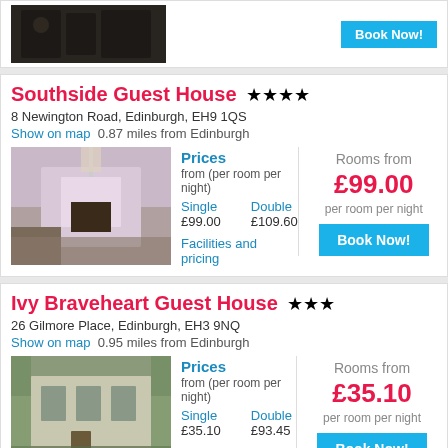[Figure (photo): Top partial card with hotel image (dark building photo) and Book Now button]
Southside Guest House ★★★★
8 Newington Road, Edinburgh, EH9 1QS
Show on map  0.87 miles from Edinburgh
[Figure (photo): Bedroom interior with canopy bed and curtains]
Prices from (per room per night) Single £99.00 Double £109.60
Facilities and pricing
Rooms from £99.00 per room per night
Book Now!
Ivy Braveheart Guest House ★★★
26 Gilmore Place, Edinburgh, EH3 9NQ
Show on map  0.95 miles from Edinburgh
[Figure (photo): Stone building exterior with ivy and gardens]
Prices from (per room per night) Single £35.10 Double £93.45
Facilities, pricing & guestbook
Rooms from £35.10 per room per night
Book Now!
The Ben Doran Guest House ★★★★